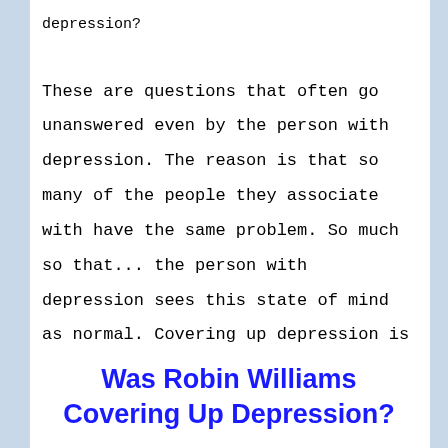depression?
These are questions that often go unanswered even by the person with depression. The reason is that so many of the people they associate with have the same problem. So much so that... the person with depression sees this state of mind as normal. Covering up depression is sad but true.
Was Robin Williams Covering Up Depression?